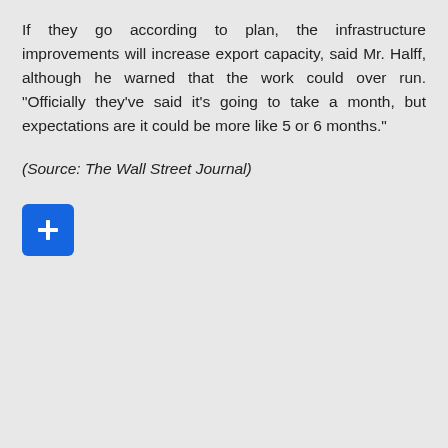If they go according to plan, the infrastructure improvements will increase export capacity, said Mr. Halff, although he warned that the work could over run. "Officially they've said it's going to take a month, but expectations are it could be more like 5 or 6 months."
(Source: The Wall Street Journal)
[Figure (other): Blue rounded square button with a white plus (+) icon in the center]